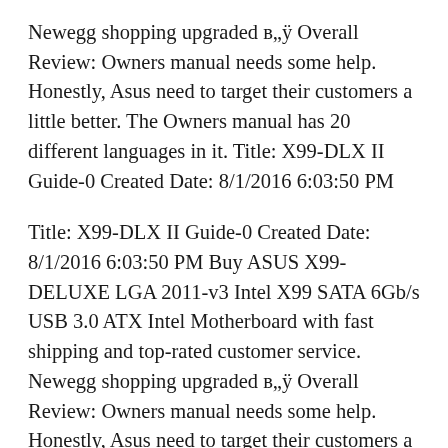Newegg shopping upgraded в„ÿ Overall Review: Owners manual needs some help. Honestly, Asus need to target their customers a little better. The Owners manual has 20 different languages in it. Title: X99-DLX II Guide-0 Created Date: 8/1/2016 6:03:50 PM
Title: X99-DLX II Guide-0 Created Date: 8/1/2016 6:03:50 PM Buy ASUS X99-DELUXE LGA 2011-v3 Intel X99 SATA 6Gb/s USB 3.0 ATX Intel Motherboard with fast shipping and top-rated customer service. Newegg shopping upgraded в„ÿ Overall Review: Owners manual needs some help. Honestly, Asus need to target their customers a little better. The Owners manual has 20 different languages in it.